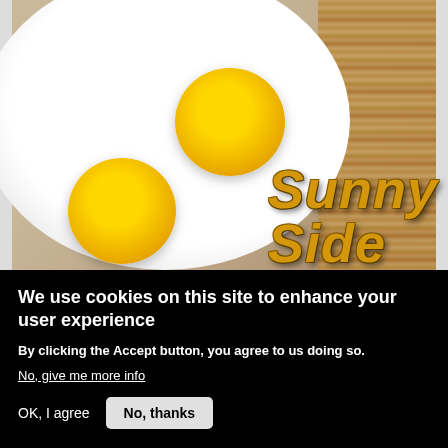[Figure (photo): Photo of fried eggs sunny side up on a white plate on a wooden surface, with yellow 3D text reading 'Sunny Side' overlaid on the lower right of the image.]
We use cookies on this site to enhance your user experience
By clicking the Accept button, you agree to us doing so.
No, give me more info
OK, I agree
No, thanks